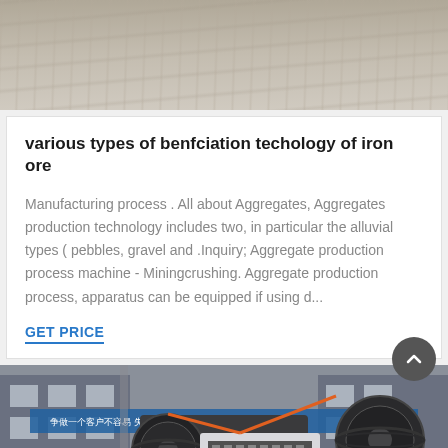[Figure (photo): Top portion of a photo showing a sandy or gravelly ground surface, gray-beige tones, appears to be a quarry or aggregate site.]
various types of benfciation techology of iron ore
Manufacturing process . All about Aggregates, Aggregates production technology includes two, in particular the alluvial types ( pebbles, gravel and .Inquiry; Aggregate production process machine - Miningcrushing. Aggregate production process, apparatus can be equipped if using d...
GET PRICE
[Figure (photo): Photo of a large industrial jaw crusher or similar mining/crushing machine in a factory setting, with Chinese language signage visible on the building in the background.]